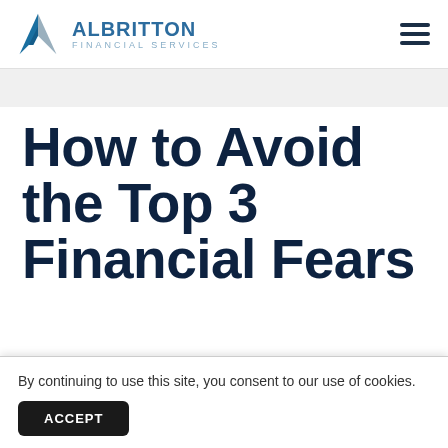ALBRITTON FINANCIAL SERVICES
How to Avoid the Top 3 Financial Fears in Retirement
By continuing to use this site, you consent to our use of cookies.